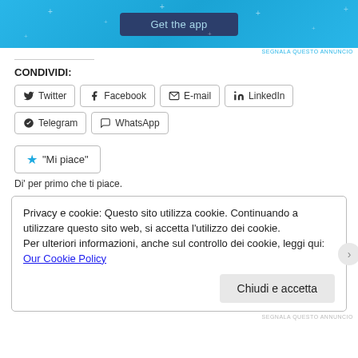[Figure (screenshot): Blue app advertisement banner with 'Get the app' button]
SEGNALA QUESTO ANNUNCIO
CONDIVIDI:
Twitter
Facebook
E-mail
LinkedIn
Telegram
WhatsApp
"Mi piace"
Di' per primo che ti piace.
Privacy e cookie: Questo sito utilizza cookie. Continuando a utilizzare questo sito web, si accetta l'utilizzo dei cookie.
Per ulteriori informazioni, anche sul controllo dei cookie, leggi qui:
Our Cookie Policy
Chiudi e accetta
SEGNALA QUESTO ANNUNCIO